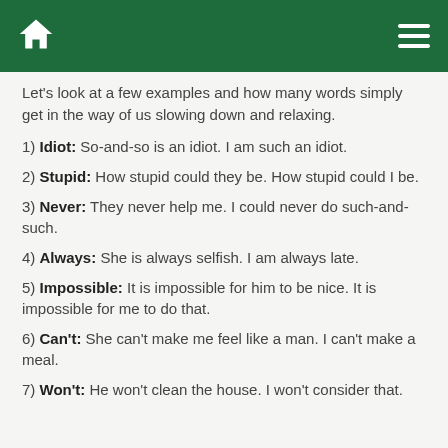[Navigation bar with home icon and hamburger menu]
Let's look at a few examples and how many words simply get in the way of us slowing down and relaxing.
1) Idiot: So-and-so is an idiot. I am such an idiot.
2) Stupid: How stupid could they be. How stupid could I be.
3) Never: They never help me. I could never do such-and-such.
4) Always: She is always selfish. I am always late.
5) Impossible: It is impossible for him to be nice. It is impossible for me to do that.
6) Can't: She can't make me feel like a man. I can't make a meal.
7) Won't: He won't clean the house. I won't consider that.